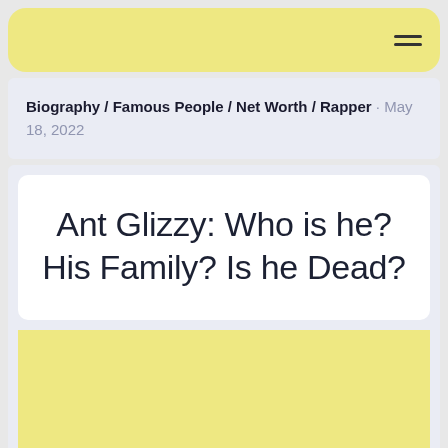Navigation menu
Biography / Famous People / Net Worth / Rapper · May 18, 2022
Ant Glizzy: Who is he? His Family? Is he Dead?
[Figure (other): Yellow advertisement banner placeholder]